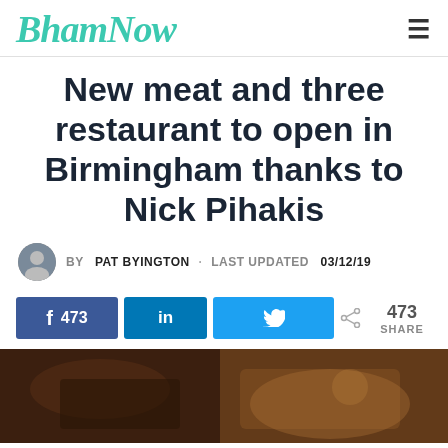Bham Now
New meat and three restaurant to open in Birmingham thanks to Nick Pihakis
BY PAT BYINGTON · LAST UPDATED 03/12/19
[Figure (infographic): Social share buttons: Facebook (473), LinkedIn, Twitter, and a share count of 473]
[Figure (photo): Dark restaurant interior photo at the bottom of the page]